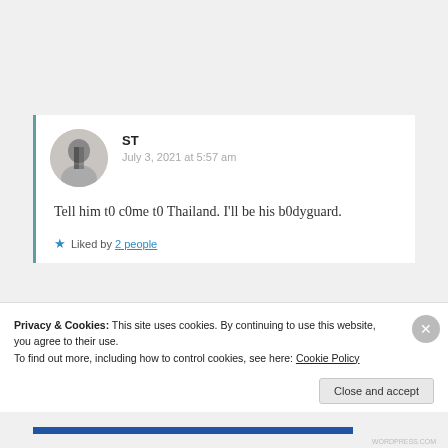ST
July 3, 2021 at 5:57 am
Tell him t0 c0me t0 Thailand. I'll be his b0dyguard.
★ Liked by 2 people
Privacy & Cookies: This site uses cookies. By continuing to use this website, you agree to their use.
To find out more, including how to control cookies, see here: Cookie Policy
Close and accept